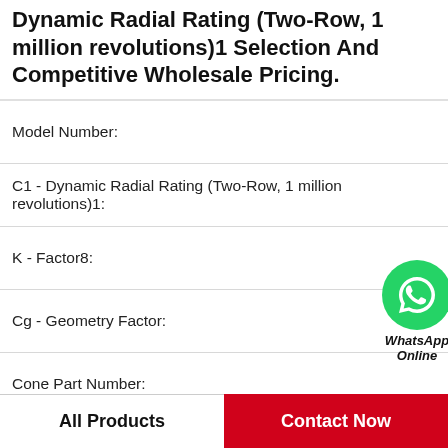Dynamic Radial Rating (Two-Row, 1 million revolutions)1 Selection And Competitive Wholesale Pricing.
Model Number:
C1 - Dynamic Radial Rating (Two-Row, 1 million revolutions)1:
K - Factor8:
Cg - Geometry Factor:
Cone Part Number:
R - Cone Backface To Clear Radius3:
C90(2) - Dynamic Radial Rating (Two-Row, 90 million revolutions)2:
Cage Type:
All Products    Contact Now